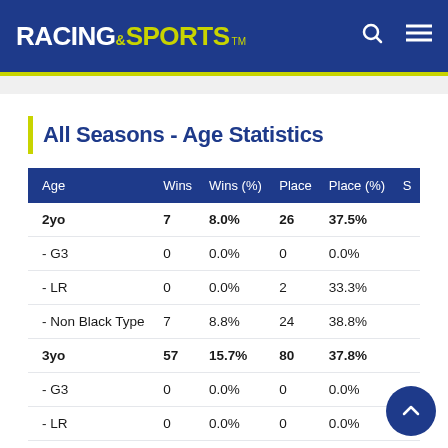RACING&SPORTS
All Seasons - Age Statistics
| Age | Wins | Wins (%) | Place | Place (%) | S |
| --- | --- | --- | --- | --- | --- |
| 2yo | 7 | 8.0% | 26 | 37.5% |  |
| - G3 | 0 | 0.0% | 0 | 0.0% |  |
| - LR | 0 | 0.0% | 2 | 33.3% |  |
| - Non Black Type | 7 | 8.8% | 24 | 38.8% |  |
| 3yo | 57 | 15.7% | 80 | 37.8% |  |
| - G3 | 0 | 0.0% | 0 | 0.0% |  |
| - LR | 0 | 0.0% | 0 | 0.0% |  |
| - Non Black Type | 57 | 16.0% | 80 | 38.5% |  |
| 4yo | 29 | 14.3% | 44 | 36.0% |  |
| - G1 |  | 0.0% |  | 0.0% |  |